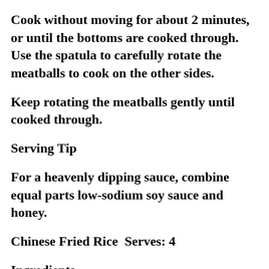Cook without moving for about 2 minutes, or until the bottoms are cooked through. Use the spatula to carefully rotate the meatballs to cook on the other sides.
Keep rotating the meatballs gently until cooked through.
Serving Tip
For a heavenly dipping sauce, combine equal parts low-sodium soy sauce and honey.
Chinese Fried Rice  Serves: 4
Ingredients